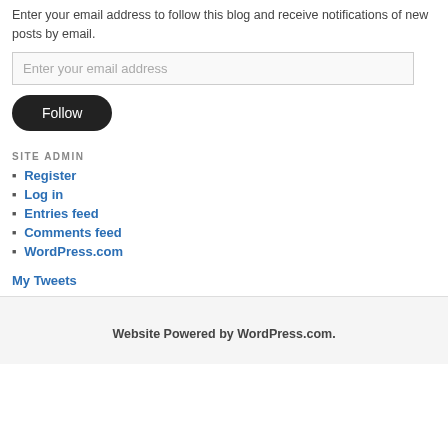Enter your email address to follow this blog and receive notifications of new posts by email.
[Figure (other): Email input field with placeholder text 'Enter your email address']
[Figure (other): Dark rounded Follow button]
SITE ADMIN
Register
Log in
Entries feed
Comments feed
WordPress.com
My Tweets
Website Powered by WordPress.com.